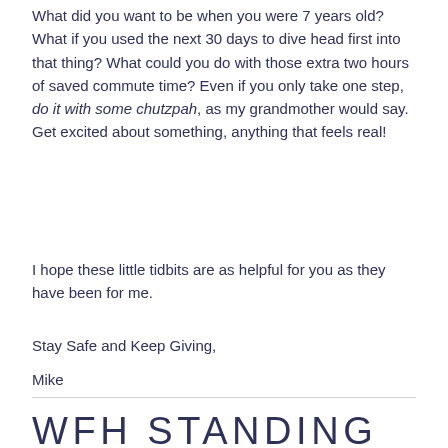What did you want to be when you were 7 years old? What if you used the next 30 days to dive head first into that thing? What could you do with those extra two hours of saved commute time? Even if you only take one step, do it with some chutzpah, as my grandmother would say.  Get excited about something, anything that feels real!
I hope these little tidbits are as helpful for you as they have been for me.
Stay Safe and Keep Giving,
Mike
WFH STANDING DESK